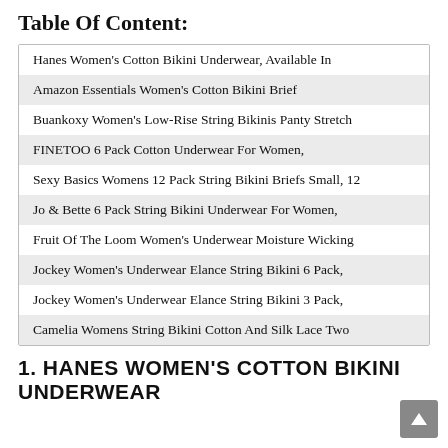Table Of Content:
| Hanes Women's Cotton Bikini Underwear, Available In |
| Amazon Essentials Women's Cotton Bikini Brief |
| Buankoxy Women's Low-Rise String Bikinis Panty Stretch |
| FINETOO 6 Pack Cotton Underwear For Women, |
| Sexy Basics Womens 12 Pack String Bikini Briefs Small, 12 |
| Jo & Bette 6 Pack String Bikini Underwear For Women, |
| Fruit Of The Loom Women's Underwear Moisture Wicking |
| Jockey Women's Underwear Elance String Bikini 6 Pack, |
| Jockey Women's Underwear Elance String Bikini 3 Pack, |
| Camelia Womens String Bikini Cotton And Silk Lace Two |
1. HANES WOMEN'S COTTON BIKINI UNDERWEAR